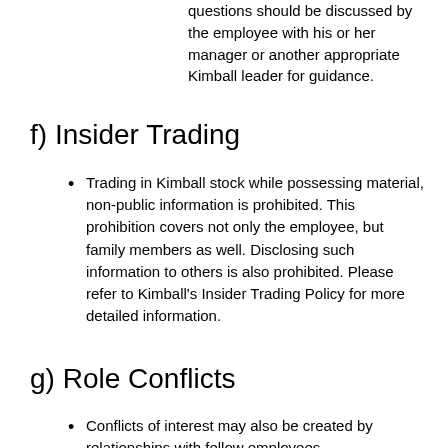questions should be discussed by the employee with his or her manager or another appropriate Kimball leader for guidance.
f) Insider Trading
Trading in Kimball stock while possessing material, non-public information is prohibited. This prohibition covers not only the employee, but family members as well. Disclosing such information to others is also prohibited. Please refer to Kimball's Insider Trading Policy for more detailed information.
g) Role Conflicts
Conflicts of interest may also be created by relationships with fellow employees.